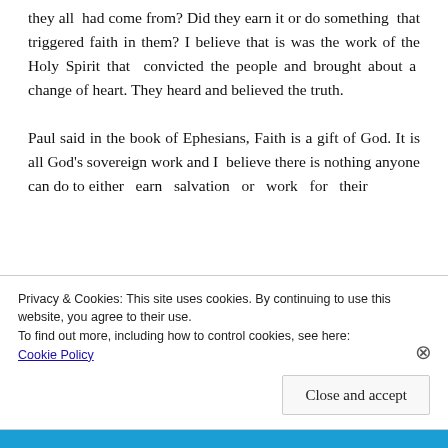they all had come from? Did they earn it or do something that triggered faith in them? I believe that is was the work of the Holy Spirit that convicted the people and brought about a change of heart. They heard and believed the truth.

Paul said in the book of Ephesians, Faith is a gift of God. It is all God's sovereign work and I believe there is nothing anyone can do to either earn salvation or work for their
Privacy & Cookies: This site uses cookies. By continuing to use this website, you agree to their use.
To find out more, including how to control cookies, see here: Cookie Policy
Close and accept